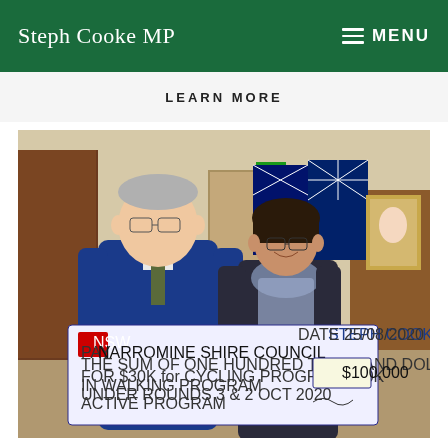Steph Cooke MP | MENU
LEARN MORE
[Figure (photo): Two people standing indoors in what appears to be a council chamber, holding a large ceremonial cheque from NSW government made out to Narromine Shire Council for One Hundred Thousand Dollars ($100,000), dated 25/08/2020, for Cycling Program $30k, Walking Program, Rounds 3 & 2 OCT 2020 Active Program. An Australian flag is visible in the background. The cheque is branded with 'Steph Cooke MP'.]